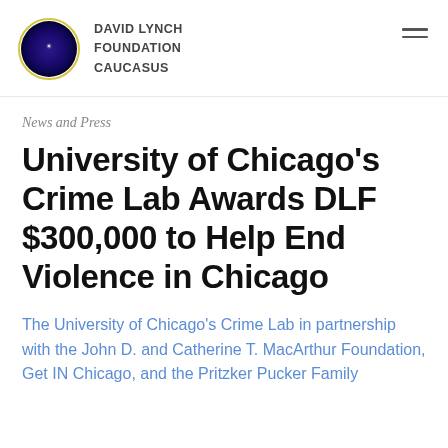DAVID LYNCH FOUNDATION CAUCASUS
News and Press
University of Chicago's Crime Lab Awards DLF $300,000 to Help End Violence in Chicago
The University of Chicago's Crime Lab in partnership with the John D. and Catherine T. MacArthur Foundation, Get IN Chicago, and the Pritzker Pucker Family